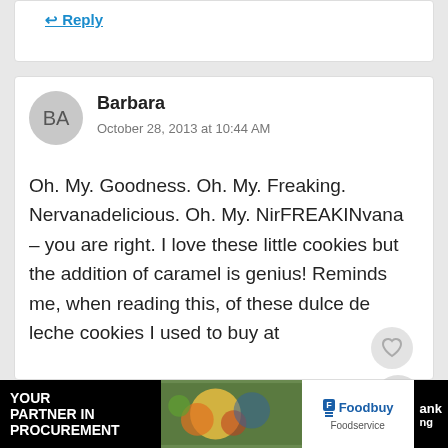Reply
BA
Barbara
October 28, 2013 at 10:44 AM

Oh. My. Goodness. Oh. My. Freaking. Nervanadelicious. Oh. My. NirFREAKINvana – you are right. I love these little cookies but the addition of caramel is genius! Reminds me, when reading this, of these dulce de leche cookies I used to buy at
[Figure (screenshot): Homemade Peach Cobbler thumbnail card]
[Figure (infographic): Advertisement bar: YOUR PARTNER IN PROCUREMENT with food image, Foodbuy Foodservice logo, and partially visible text on right]